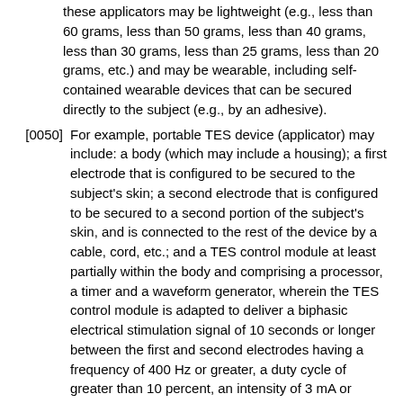these applicators may be lightweight (e.g., less than 60 grams, less than 50 grams, less than 40 grams, less than 30 grams, less than 25 grams, less than 20 grams, etc.) and may be wearable, including self-contained wearable devices that can be secured directly to the subject (e.g., by an adhesive).
[0050] For example, portable TES device (applicator) may include: a body (which may include a housing); a first electrode that is configured to be secured to the subject's skin; a second electrode that is configured to be secured to a second portion of the subject's skin, and is connected to the rest of the device by a cable, cord, etc.; and a TES control module at least partially within the body and comprising a processor, a timer and a waveform generator, wherein the TES control module is adapted to deliver a biphasic electrical stimulation signal of 10 seconds or longer between the first and second electrodes having a frequency of 400 Hz or greater, a duty cycle of greater than 10 percent, an intensity of 3 mA or greater, with a DC offset. The device may also include a wireless